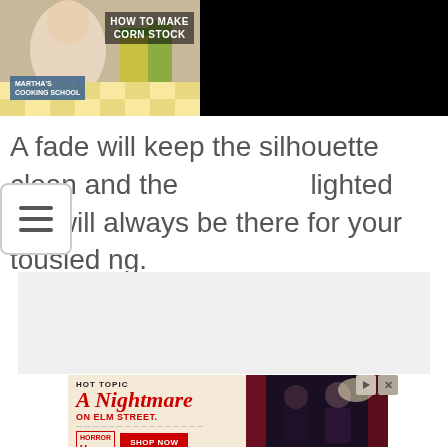[Figure (screenshot): Video overlay showing Martha Stewart Corn Stock thumbnail on the left and title text 'How to Make Martha Stewart's Corn Stock' on the right on a black background with a close button.]
A fade will keep the silhouette clean and the highlighted top will always be there for your tousled styling.
[Figure (screenshot): Gray placeholder content area]
[Figure (infographic): Hot Topic advertisement: A Nightmare on Elm Street, Shop Now button, with two people in dark clothing on the right side.]